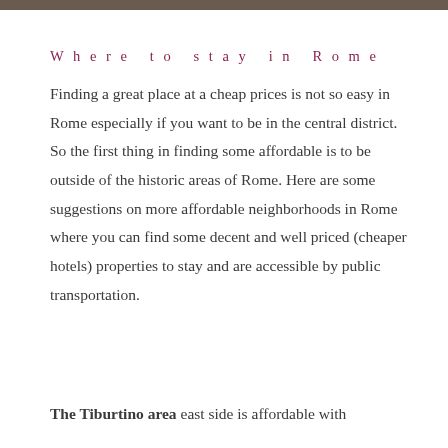[Figure (photo): Partial top edge of a photo, likely of Rome]
Where to stay in Rome
Finding a great place at a cheap prices is not so easy in Rome especially if you want to be in the central district. So the first thing in finding some affordable is to be outside of the historic areas of Rome. Here are some suggestions on more affordable neighborhoods in Rome where you can find some decent and well priced (cheaper hotels) properties to stay and are accessible by public transportation.
The Tiburtino area east side is affordable with